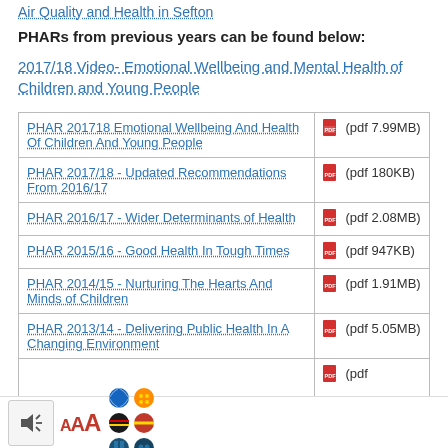Air Quality and Health in Sefton
PHARs from previous years can be found below:
2017/18 Video- Emotional Wellbeing and Mental Health of Children and Young People
| Document | File |
| --- | --- |
| PHAR 201718 Emotional Wellbeing And Health Of Children And Young People | (pdf 7.99MB) |
| PHAR 2017/18 - Updated Recommendations From 2016/17 | (pdf 180KB) |
| PHAR 2016/17 - Wider Determinants of Health | (pdf 2.08MB) |
| PHAR 2015/16 - Good Health In Tough Times | (pdf 947KB) |
| PHAR 2014/15 - Nurturing The Hearts And Minds of Children | (pdf 1.91MB) |
| PHAR 2013/14 - Delivering Public Health In A Changing Environment | (pdf 5.05MB) |
| (partial row) | (pdf …MB) |